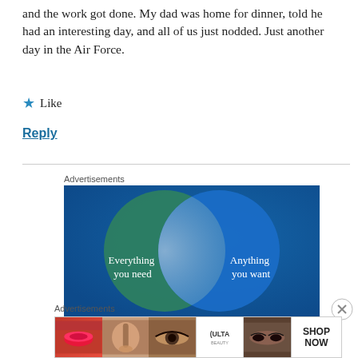and the work got done. My dad was home for dinner, told he had an interesting day, and all of us just nodded. Just another day in the Air Force.
★ Like
Reply
Advertisements
[Figure (illustration): Advertisement banner with Venn diagram of two overlapping circles on a blue-green gradient background. Left circle (teal/green) labeled 'Everything you need', right circle (blue) labeled 'Anything you want'.]
Advertisements
[Figure (illustration): ULTA beauty advertisement strip showing makeup product images and faces with text SHOP NOW.]